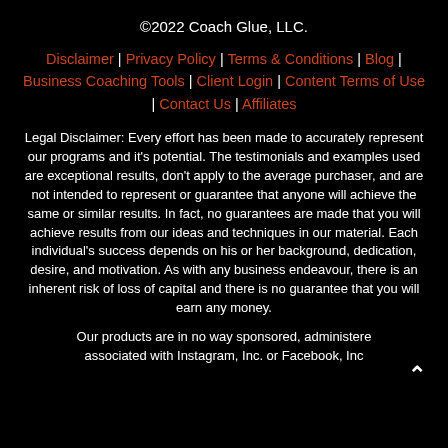©2022 Coach Glue, LLC.
Disclaimer | Privacy Policy | Terms & Conditions | Blog | Business Coaching Tools | Client Login | Content Terms of Use | Contact Us | Affiliates
Legal Disclaimer: Every effort has been made to accurately represent our programs and it's potential. The testimonials and examples used are exceptional results, don't apply to the average purchaser, and are not intended to represent or guarantee that anyone will achieve the same or similar results. In fact, no guarantees are made that you will achieve results from our ideas and techniques in our material. Each individual's success depends on his or her background, dedication, desire, and motivation. As with any business endeavour, there is an inherent risk of loss of capital and there is no guarantee that you will earn any money.
Our products are in no way sponsored, administered or associated with Instagram, Inc. or Facebook, Inc